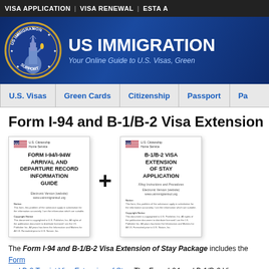VISA APPLICATION | VISA RENEWAL | ESTA A
[Figure (screenshot): US Immigration Support website banner with Statue of Liberty logo and text 'US IMMIGRATION - Your Online Guide to U.S. Visas, Green']
[Figure (infographic): Navigation menu with items: U.S. Visas | Green Cards | Citizenship | Passport | Pa]
Form I-94 and B-1/B-2 Visa Extension
[Figure (infographic): Two document covers: 'FORM I-94/I-94W ARRIVAL AND DEPARTURE RECORD INFORMATION GUIDE' plus 'B-1/B-2 VISA EXTENSION OF STAY APPLICATION']
The Form I-94 and B-1/B-2 Visa Extension of Stay Package includes the Form and B-2 Tourist Visa Extension of Stay. The Form I-94 and B-1/B-2 Visa Extension how to replace a lost or stolen Form I-94/I-94W and how to extend a B-1/B-2 visi